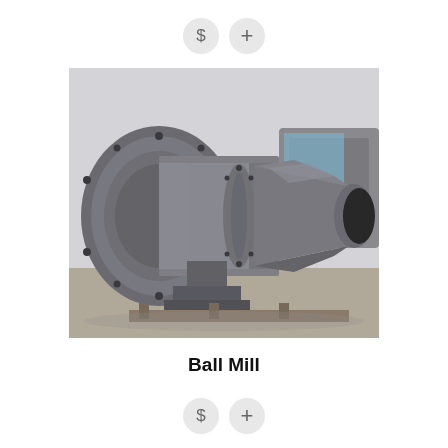[Figure (other): Two circular button icons: a dollar sign '$' and a plus sign '+', both in light grey circles, positioned at the top center of the page]
[Figure (photo): Photograph of a large grey industrial Ball Mill machine, showing the cylindrical drum body with flanged end plates, mounting bolts, a central bearing support bracket, and a discharge spout opening. The machine is displayed in a factory/warehouse setting.]
Ball Mill
[Figure (other): Two circular button icons: a dollar sign '$' and a plus sign '+', both in light grey circles, positioned at the bottom center of the page]